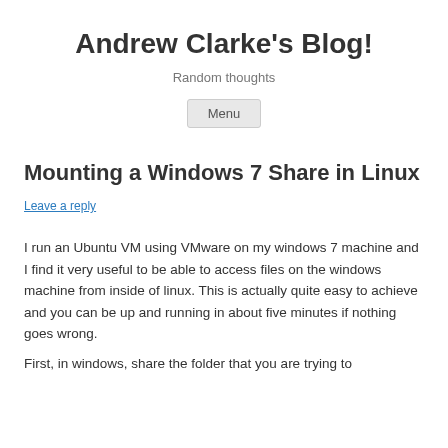Andrew Clarke's Blog!
Random thoughts
Menu
Mounting a Windows 7 Share in Linux
Leave a reply
I run an Ubuntu VM using VMware on my windows 7 machine and I find it very useful to be able to access files on the windows machine from inside of linux. This is actually quite easy to achieve and you can be up and running in about five minutes if nothing goes wrong.
First, in windows, share the folder that you are trying to